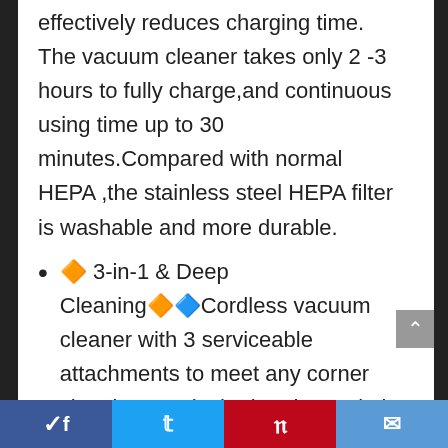effectively reduces charging time. The vacuum cleaner takes only 2 -3 hours to fully charge,and continuous using time up to 30 minutes.Compared with normal HEPA ,the stainless steel HEPA filter is washable and more durable.
🔶 3-in-1 & Deep Cleaning🔶🔷Cordless vacuum cleaner with 3 serviceable attachments to meet any corner cleaning needs,the brush nozzle is for hair and liquid mess
the crevice nozzle can get deal with trash in narrow spaces
Facebook | Twitter | Pinterest | Email